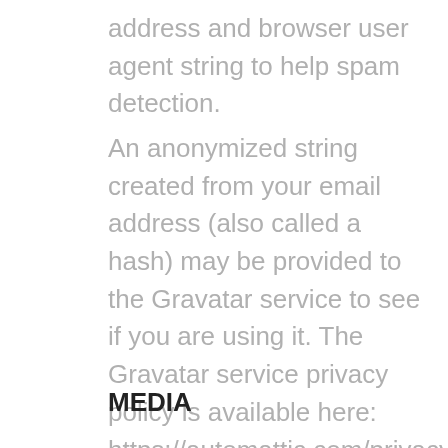address and browser user agent string to help spam detection.
An anonymized string created from your email address (also called a hash) may be provided to the Gravatar service to see if you are using it. The Gravatar service privacy policy is available here: https://automattic.com/privacy/. After approval of your comment, your profile picture is visible to the public in the context of your comment.
MEDIA